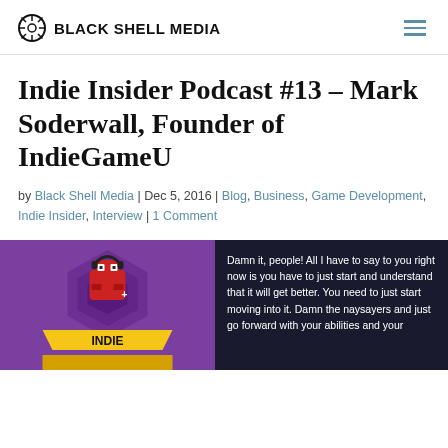Black Shell Media
Indie Insider Podcast #13 – Mark Soderwall, Founder of IndieGameU
by Black Shell Media | Dec 5, 2016 | Blog, Business, Game Development, Indie Insider, Interview | 1 Comment
[Figure (illustration): Indie Insider podcast promotional image split into two panels: left panel shows a purple illustrated graphic with a robot/character and 'INDIE' text on a yellow banner; right panel shows a dark background with a quote: 'Damn it, people! All I have to say to you right now is you have to just start and understand that it will get better. You need to just start moving into it. Damn the naysayers and just go forward with your abilities and your']